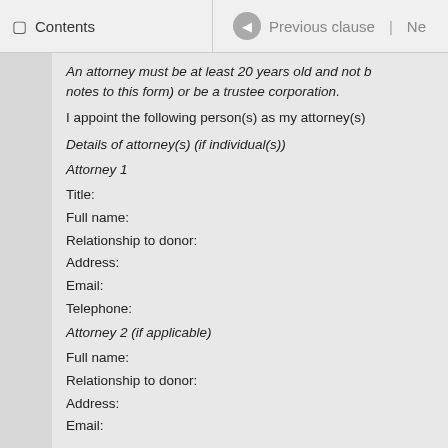Contents | Previous clause | Ne
An attorney must be at least 20 years old and not b notes to this form) or be a trustee corporation.
I appoint the following person(s) as my attorney(s)
Details of attorney(s) (if individual(s))
Attorney 1
Title:
Full name:
Relationship to donor:
Address:
Email:
Telephone:
Attorney 2 (if applicable)
Full name:
Relationship to donor:
Address:
Email: